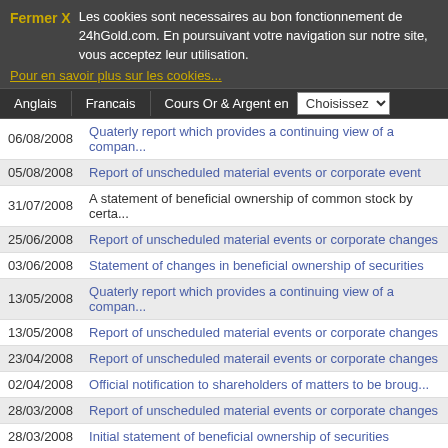Fermer X   Les cookies sont necessaires au bon fonctionnement de 24hGold.com. En poursuivant votre navigation sur notre site, vous acceptez leur utilisation.
Pour en savoir plus sur les cookies...
Anglais | Francais | Cours Or & Argent en | Choisissez
| Date | Description |
| --- | --- |
| 06/08/2008 | Quaterly report which provides a continuing view of a compan... |
| 05/08/2008 | Report of unscheduled material events or corporate event |
| 31/07/2008 | A statement of beneficial ownership of common stock by certa... |
| 25/06/2008 | Report of unscheduled material events or corporate changes |
| 03/06/2008 | Statement of changes in beneficial ownership of securities |
| 13/05/2008 | Quaterly report which provides a continuing view of a compan... |
| 13/05/2008 | Report of unscheduled material events or corporate changes |
| 23/04/2008 | Report of unscheduled materail events or corporate changes |
| 02/04/2008 | Official notification to shareholders of matters to be broug... |
| 28/03/2008 | Report of unscheduled material events or corporate changes |
| 28/03/2008 | Initial statement of beneficial ownership of securities |
| 07/03/2008 | Amendment to a previously filed 8-K |
| 07/03/2008 | Filing of certain prospectuses and communications in connect... |
| 07/03/2008 | Filing of certain prospectuses and communications in connect... |
| 07/03/2008 | Filing of certain prospectuses and communications in connect... |
| 07/03/2008 | Filing of certain prospectuses and communications in connect... |